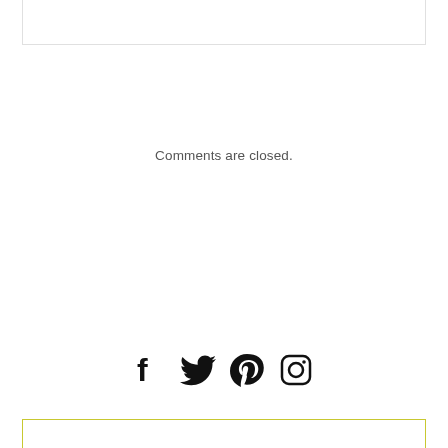Comments are closed.
[Figure (infographic): Social media icons: Facebook, Twitter, Pinterest, Instagram]
[Figure (other): Bottom border box with yellow-green outline, partially visible at bottom of page]